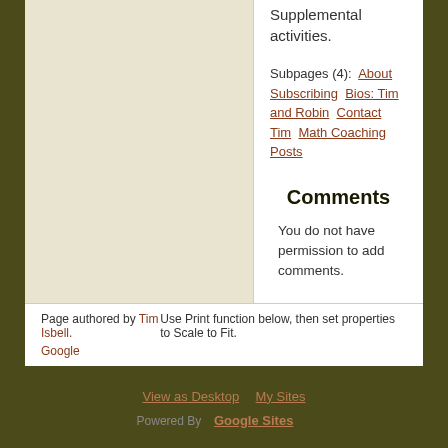Supplemental activities.
Subpages (4):  About Subscribing  Bios: Tim and Robin  Contact Tim  Math Coaching Posts
Comments
You do not have permission to add comments.
Page authored by Tim Isbell.   Use Print function below, then set properties to Scale to Fit.
Google
View as Desktop   My Sites
Powered By  Google Sites